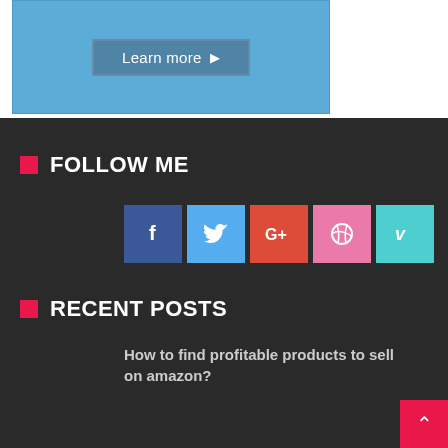[Figure (screenshot): Blue banner section with a 'Learn more ▶' button in center]
FOLLOW ME
[Figure (infographic): Social media icons row: Facebook (f), Twitter (bird), Google+ (G+), Dribbble (ball), Vimeo (V)]
RECENT POSTS
How to find profitable products to sell on amazon?